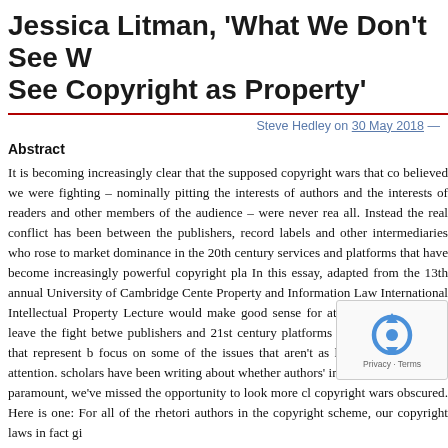Jessica Litman, 'What We Don't See When We See Copyright as Property'
Steve Hedley on 30 May 2018 —
Abstract
It is becoming increasingly clear that the supposed copyright wars that co believed we were fighting – nominally pitting the interests of authors and the interests of readers and other members of the audience – were never rea all. Instead the real conflict has been between the publishers, record labels and other intermediaries who rose to market dominance in the 20th century services and platforms that have become increasingly powerful copyright pla In this essay, adapted from the 13th annual University of Cambridge Cente Property and Information Law International Intellectual Property Lecture would make good sense for at least some of us to leave the fight betwe publishers and 21st century platforms to the many lawyers that represent b focus on some of the issues that aren't as likely to attract their attention. scholars have been writing about whether authors' interests or readers' int paramount, we've missed the opportunity to look more cl copyright wars obscured. Here is one: For all of the rhetori authors in the copyright scheme, our copyright laws in fact gi